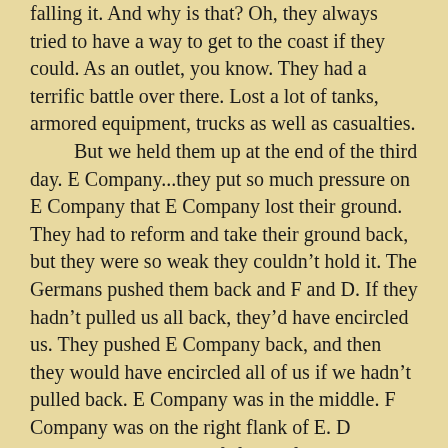falling it. And why is that? Oh, they always tried to have a way to get to the coast if they could. As an outlet, you know. They had a terrific battle over there. Lost a lot of tanks, armored equipment, trucks as well as casualties.

But we held them up at the end of the third day. E Company...they put so much pressure on E Company that E Company lost their ground. They had to reform and take their ground back, but they were so weak they couldn't hold it. The Germans pushed them back and F and D. If they hadn't pulled us all back, they'd have encircled us. They pushed E Company back, and then they would have encircled all of us if we hadn't pulled back. E Company was in the middle. F Company was on the right flank of E. D Company was on the left flank of E. E Company was in the center and it was pulling back. If the Germans got in the middle there they could have encircled F Company and D Company. So D and F Companies had to pull back in order to maintain our line.

If you get encircled in behind to cut you off, why